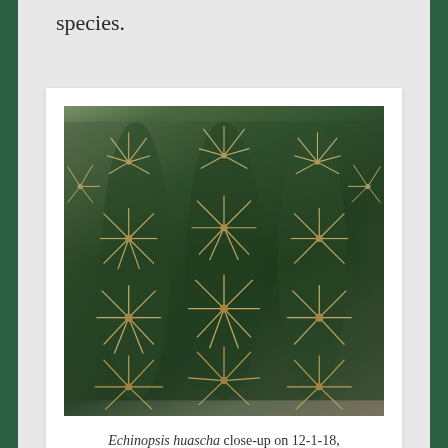species.
[Figure (photo): Close-up photograph of Echinopsis huascha cactus showing green ribs and star-shaped clusters of long tan/cream spines radiating from areoles]
Echinopsis huascha close-up on 12-1-18, #535-10.